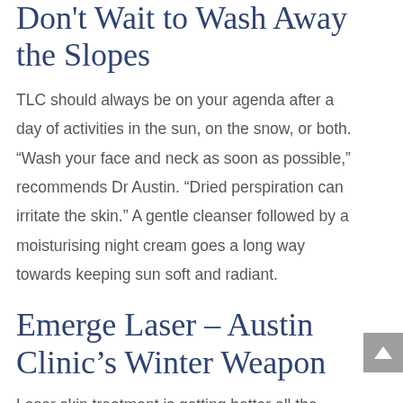Don't Wait to Wash Away the Slopes
TLC should always be on your agenda after a day of activities in the sun, on the snow, or both. “Wash your face and neck as soon as possible,” recommends Dr Austin. “Dried perspiration can irritate the skin.” A gentle cleanser followed by a moisturising night cream goes a long way towards keeping sun soft and radiant.
Emerge Laser – Austin Clinic’s Winter Weapon
Laser skin treatment is getting better all the time. One of our favourite new and